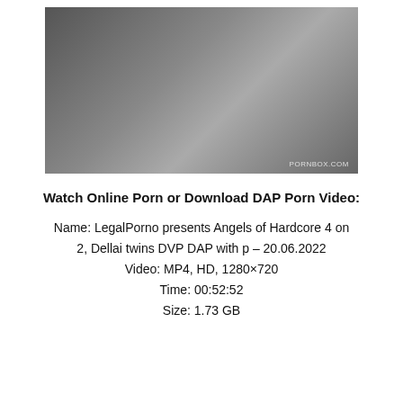[Figure (photo): Explicit adult content photo with watermark PORNBOX.COM]
Watch Online Porn or Download DAP Porn Video:
Name: LegalPorno presents Angels of Hardcore 4 on 2, Dellai twins DVP DAP with p – 20.06.2022
Video: MP4, HD, 1280×720
Time: 00:52:52
Size: 1.73 GB